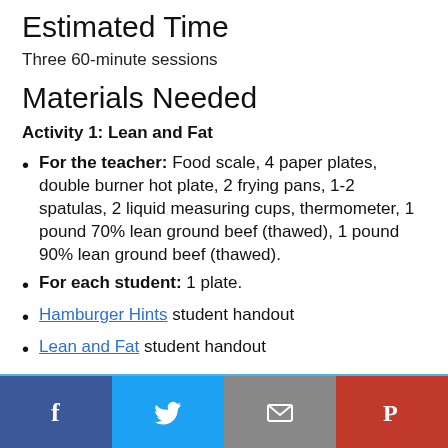Estimated Time
Three 60-minute sessions
Materials Needed
Activity 1: Lean and Fat
For the teacher: Food scale, 4 paper plates, double burner hot plate, 2 frying pans, 1-2 spatulas, 2 liquid measuring cups, thermometer, 1 pound 70% lean ground beef (thawed), 1 pound 90% lean ground beef (thawed).
For each student: 1 plate.
Hamburger Hints student handout
Lean and Fat student handout
Social share buttons: Facebook, Twitter, Email, Pinterest